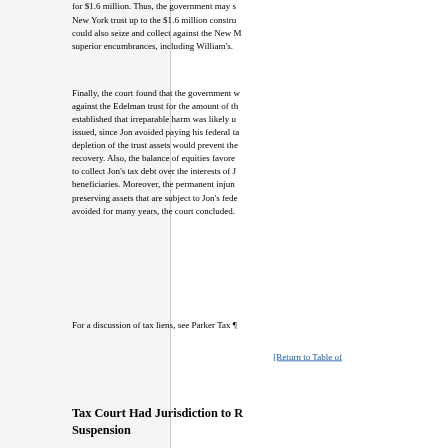for $1.6 million. Thus, the government may s... New York trust up to the $1.6 million constru... could also seize and collect against the New M... superior encumbrances, including William's.
Finally, the court found that the government w... against the Edelman trust for the amount of th... established that irreparable harm was likely u... issued, since Jon avoided paying his federal ta... depletion of the trust assets would prevent the... recovery. Also, the balance of equities favore... to collect Jon's tax debt over the interests of J... beneficiaries. Moreover, the permanent injun... preserving assets that are subject to Jon's fede... avoided for many years, the court concluded.
For a discussion of tax liens, see Parker Tax ¶
[Return to Table of
Tax Court Had Jurisdiction to R... Suspension